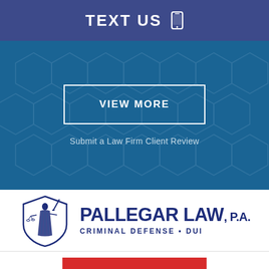TEXT US
[Figure (other): View More button on blue hexagon patterned background]
Submit a Law Firm Client Review
[Figure (logo): Pallegar Law P.A. logo with Lady Justice shield icon, text PALLEGAR LAW, P.A. CRIMINAL DEFENSE • DUI]
[Figure (other): Red MAKE A PAYMENT button]